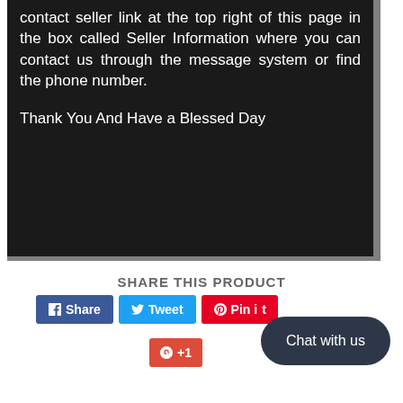[Figure (screenshot): Black box with white justified text reading: 'contact seller link at the top right of this page in the box called Seller Information where you can contact us through the message system or find the phone number. Thank You And Have a Blessed Day']
SHARE THIS PRODUCT
Share | Tweet | Pin it | +1 | Chat with us